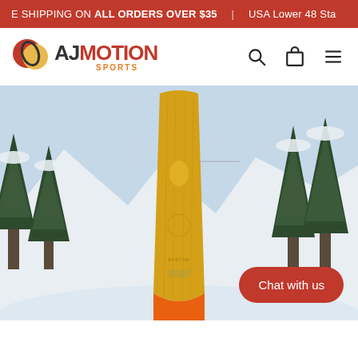FREE SHIPPING ON ALL ORDERS OVER $35 | USA Lower 48 States
[Figure (logo): AJ Motion Sports logo with red and yellow circular icon and text]
[Figure (photo): Snowboard product photo showing a yellow/amber colored snowboard standing upright against a snowy mountain background with snow-covered pine trees. A red 'Chat with us' button overlay is visible in the bottom right.]